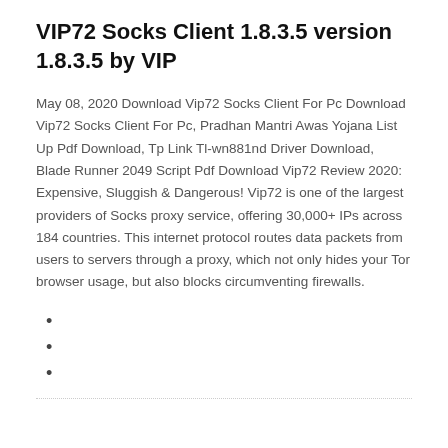VIP72 Socks Client 1.8.3.5 version 1.8.3.5 by VIP
May 08, 2020 Download Vip72 Socks Client For Pc Download Vip72 Socks Client For Pc, Pradhan Mantri Awas Yojana List Up Pdf Download, Tp Link Tl-wn881nd Driver Download, Blade Runner 2049 Script Pdf Download Vip72 Review 2020: Expensive, Sluggish & Dangerous! Vip72 is one of the largest providers of Socks proxy service, offering 30,000+ IPs across 184 countries. This internet protocol routes data packets from users to servers through a proxy, which not only hides your Tor browser usage, but also blocks circumventing firewalls.